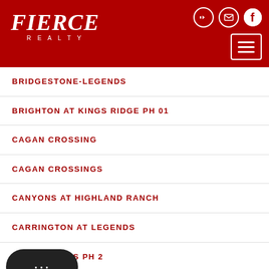[Figure (logo): Fierce Realty logo in white italic text on dark red background, with hamburger menu button and social icons]
BRIDGESTONE-LEGENDS
BRIGHTON AT KINGS RIDGE PH 01
CAGAN CROSSING
CAGAN CROSSINGS
CANYONS AT HIGHLAND RANCH
CARRINGTON AT LEGENDS
...HLNDS PH 2
CLEAR CREEK PH THREE SUB